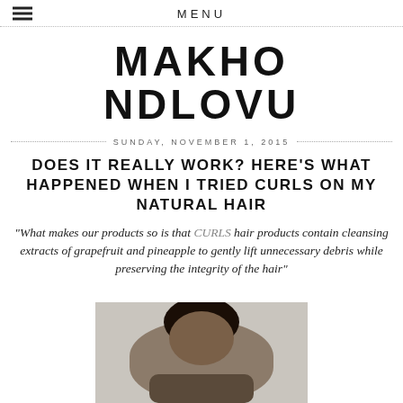MENU
MAKHO NDLOVU
SUNDAY, NOVEMBER 1, 2015
DOES IT REALLY WORK? HERE'S WHAT HAPPENED WHEN I TRIED CURLS ON MY NATURAL HAIR
“What makes our products so is that CURLS hair products contain cleansing extracts of grapefruit and pineapple to gently lift unnecessary debris while preserving the integrity of the hair”
[Figure (photo): Photo of a person with natural curly hair against a light background]